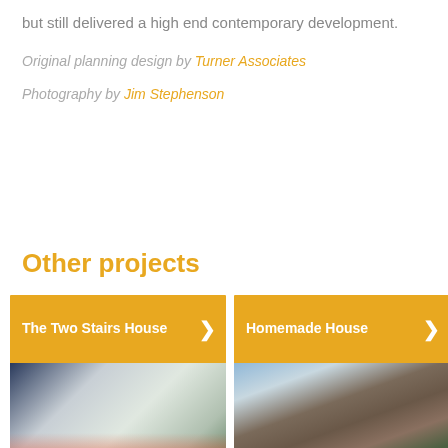but still delivered a high end contemporary development.
Original planning design by Turner Associates
Photography by Jim Stephenson
Other projects
[Figure (photo): Card with golden header 'The Two Stairs House' and arrow, below is an interior photo of a modern open-plan living space with stairs, pendant lights, and large windows.]
[Figure (photo): Card with golden header 'Homemade House' and arrow, below is an exterior photo of a contemporary brick building with curved roof and trees.]